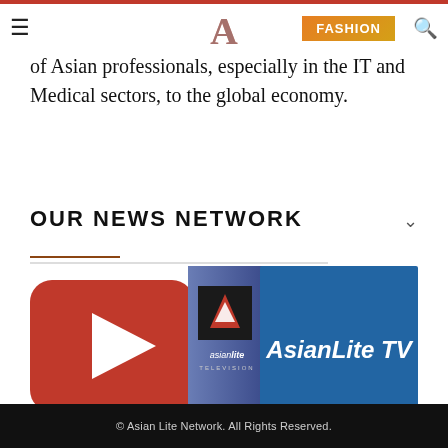Asian Lite Network – FASHION navigation header
of Asian professionals, especially in the IT and Medical sectors, to the global economy.
OUR NEWS NETWORK
[Figure (logo): AsianLite TV logo with YouTube play button icon and asianlite channel branding on blue background]
© Asian Lite Network. All Rights Reserved.